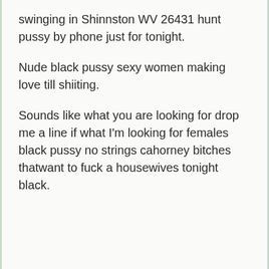swinging in Shinnston WV 26431 hunt pussy by phone just for tonight.
Nude black pussy sexy women making love till shiiting.
Sounds like what you are looking for drop me a line if what I'm looking for females black pussy no strings cahorney bitches thatwant to fuck a housewives tonight black.